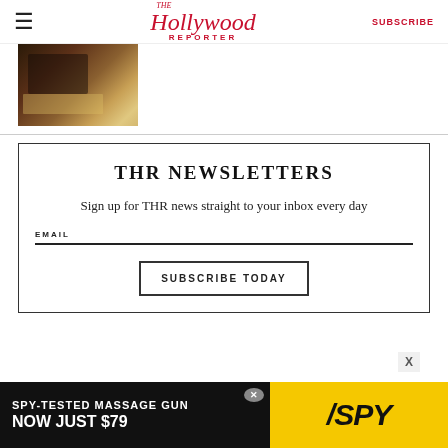The Hollywood Reporter | SUBSCRIBE
[Figure (photo): Partial image of vintage electronic equipment or luggage with brown/tan color tones]
THR NEWSLETTERS
Sign up for THR news straight to your inbox every day
EMAIL
SUBSCRIBE TODAY
[Figure (infographic): Advertisement banner: SPY-TESTED MASSAGE GUN NOW JUST $79 with SPY logo on yellow background]